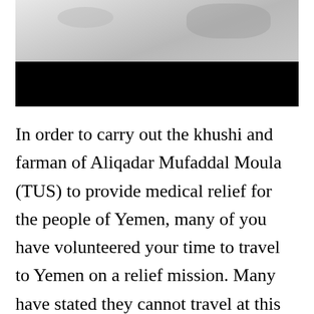[Figure (photo): Photograph with light grey/marble-like upper portion and a solid black band across the lower portion of the image area]
In order to carry out the khushi and farman of Aliqadar Mufaddal Moula (TUS) to provide medical relief for the people of Yemen, many of you have volunteered your time to travel to Yemen on a relief mission. Many have stated they cannot travel at this time due to work or